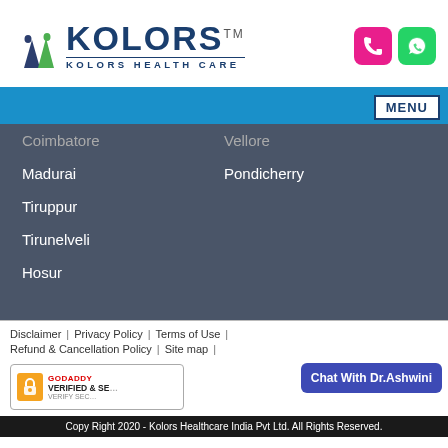[Figure (logo): Kolors Health Care logo with tree icons and stylized text]
[Figure (infographic): Phone icon (pink) and WhatsApp icon (green) contact buttons]
[Figure (infographic): Blue navigation bar with MENU button]
Coimbatore
Vellore
Madurai
Pondicherry
Tiruppur
Tirunelveli
Hosur
Disclaimer | Privacy Policy | Terms of Use | Refund & Cancellation Policy | Site map |
[Figure (infographic): GoDaddy Verified & Secured badge]
[Figure (infographic): Chat With Dr.Ashwini button]
Copy Right 2020 - Kolors Healthcare India Pvt Ltd. All Rights Reserved.